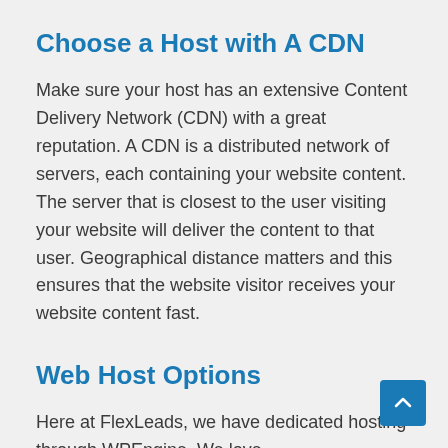Choose a Host with A CDN
Make sure your host has an extensive Content Delivery Network (CDN) with a great reputation. A CDN is a distributed network of servers, each containing your website content. The server that is closest to the user visiting your website will deliver the content to that user. Geographical distance matters and this ensures that the website visitor receives your website content fast.
Web Host Options
Here at FlexLeads, we have dedicated hosting through WPEngine. We love